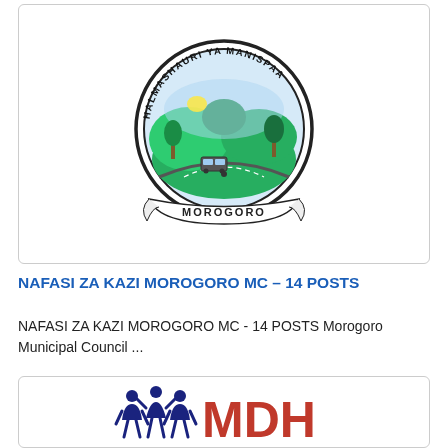[Figure (logo): Morogoro Municipal Council seal/logo — circular emblem with text 'HALMASHAURI YA MANISPAA' around the top, green landscape scene with hills, road and vehicle in the center, and 'MOROGORO' on a banner at the bottom]
NAFASI ZA KAZI MOROGORO MC – 14 POSTS
NAFASI ZA KAZI MOROGORO MC - 14 POSTS Morogoro Municipal Council ...
[Figure (logo): MDH (Management and Development for Health) logo — stylized people figure in dark blue on the left, followed by large bold red letters M, D, H]